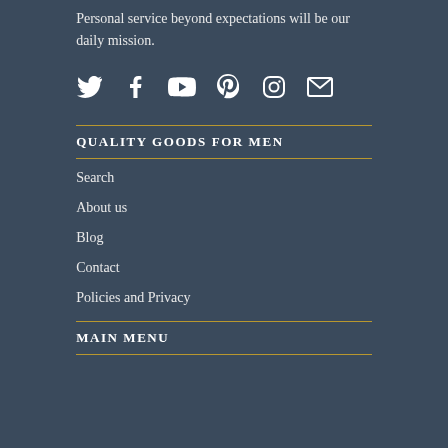Personal service beyond expectations will be our daily mission.
[Figure (infographic): Row of social media icons: Twitter, Facebook, YouTube, Pinterest, Instagram, Email]
QUALITY GOODS FOR MEN
Search
About us
Blog
Contact
Policies and Privacy
MAIN MENU